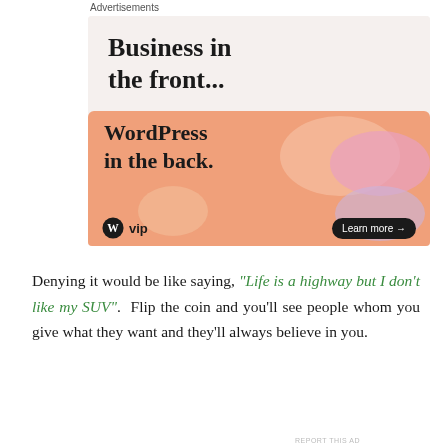Advertisements
[Figure (illustration): WordPress VIP advertisement banner. Top section on light beige background reads 'Business in the front...' in bold serif font. Bottom section on orange/peach gradient background with decorative blobs reads 'WordPress in the back.' in bold serif font. Bottom bar shows WordPress W logo with 'vip' text and a 'Learn more →' button on dark pill background.]
Denying it would be like saying, “Life is a highway but I don’t like my SUV”. Flip the coin and you’ll see people whom you give what they want and they’ll always believe in you.